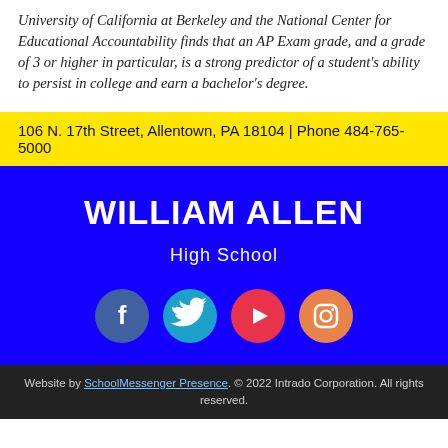University of California at Berkeley and the National Center for Educational Accountability finds that an AP Exam grade, and a grade of 3 or higher in particular, is a strong predictor of a student's ability to persist in college and earn a bachelor's degree.
106 N. 17th Street, Allentown, PA 18104 | Phone 484-765-5000
WILLIAM ALLEN High School
[Figure (other): Social media icons: Facebook, Twitter, YouTube, Instagram]
Website by SchoolMessenger Presence. © 2022 Intrado Corporation. All rights reserved.